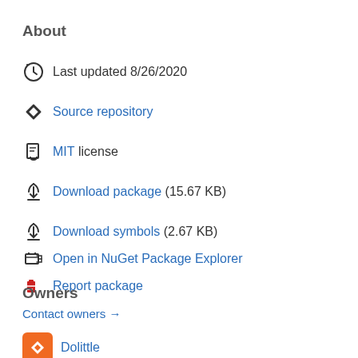About
Last updated 8/26/2020
Source repository
MIT license
Download package  (15.67 KB)
Download symbols  (2.67 KB)
Open in NuGet Package Explorer
Report package
Owners
Contact owners →
Dolittle